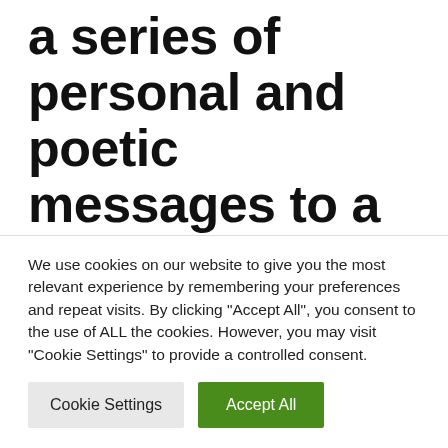a series of personal and poetic messages to a former obsession as Cathal rides the sheer uncomplicated joy of the highs, as well as finding beauty in the lows of a former relationship.
We use cookies on our website to give you the most relevant experience by remembering your preferences and repeat visits. By clicking "Accept All", you consent to the use of ALL the cookies. However, you may visit "Cookie Settings" to provide a controlled consent.